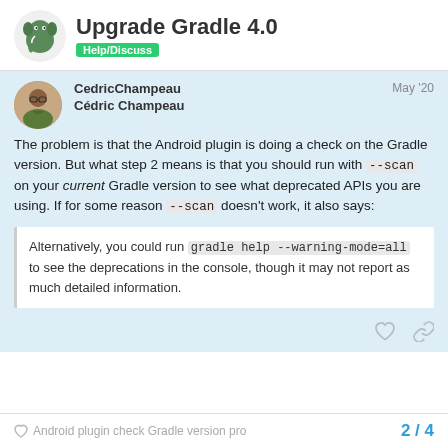Upgrade Gradle 4.0
Help/Discuss
CedricChampeau
Cédric Champeau
May '20
The problem is that the Android plugin is doing a check on the Gradle version. But what step 2 means is that you should run with --scan on your current Gradle version to see what deprecated APIs you are using. If for some reason --scan doesn't work, it also says:
Alternatively, you could run gradle help --warning-mode=all to see the deprecations in the console, though it may not report as much detailed information.
Android plugin check Gradle version pro	2 / 4